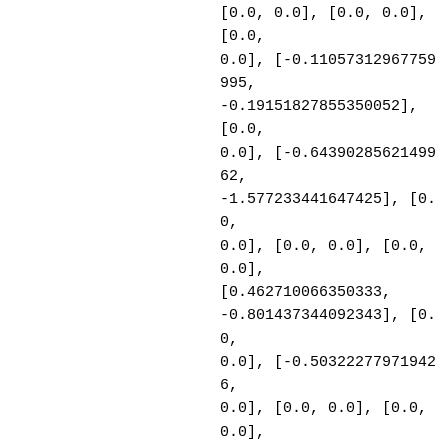[0.0, 0.0], [0.0, 0.0], [0.0, 0.0], [-0.11057312967759995, -0.19151827855350052], [0.0, 0.0], [-0.6439028562149962, -1.577233441647425], [0.0, 0.0], [0.0, 0.0], [0.0, 0.0], [0.462710066350333, -0.801437344092343], [0.0, 0.0], [-0.503222779719426, 0.0], [0.0, 0.0], [0.0, 0.0], [0.0, 0.0], [-0.5048678882159066, 0.8744568334999545], [0.0, 0.0], [0.23128651015928142, 0.40059998670117075], [0.0, 0.0], [0.0, 0.0], [0.0, 0.0], [0.4744811673913732, 0.8218254891564516], [0.0, 0.0], [-0.19569842191603265, 0.33895960971961925], [0.0,